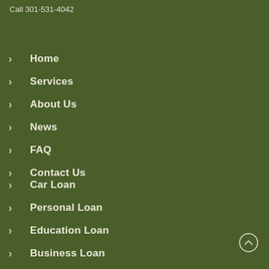Call 301-531-4042
Home
Services
About Us
News
FAQ
Contact Us
Car Loan
Personal Loan
Education Loan
Business Loan